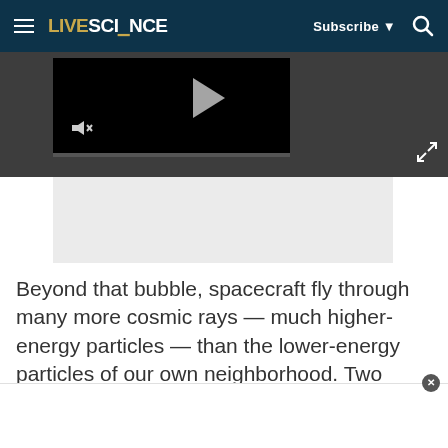LIVESCIENCE | Subscribe | Search
[Figure (screenshot): Video player embedded in dark gray bar showing a black video frame with play button and mute icon, with a progress bar below]
[Figure (other): Gray advertisement placeholder area]
Beyond that bubble, spacecraft fly through many more cosmic rays — much higher-energy particles — than the lower-energy particles of our own neighborhood. Two instruments onboard the Voyager 2 probe track these particles as they collide